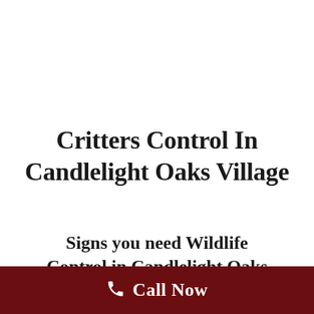Critters Control In Candlelight Oaks Village
Signs you need Wildlife Control in Candlelight Oaks
Call Now